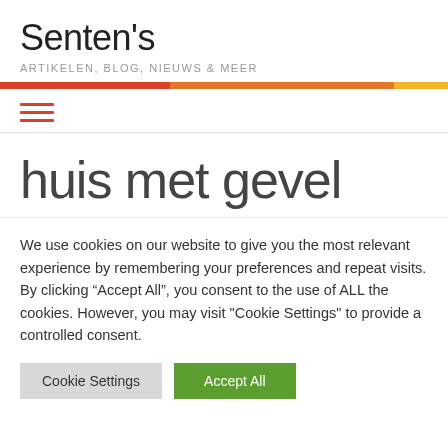Senten's
ARTIKELEN, BLOG, NIEUWS & MEER
huis met gevel
We use cookies on our website to give you the most relevant experience by remembering your preferences and repeat visits. By clicking “Accept All”, you consent to the use of ALL the cookies. However, you may visit "Cookie Settings" to provide a controlled consent.